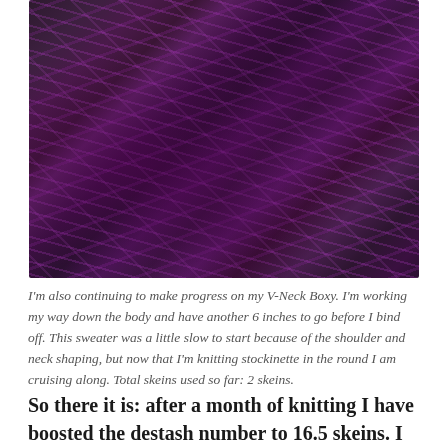[Figure (photo): Close-up photo of dark purple/brown knitted fabric with bright magenta/purple accent yarn stripes woven through it, showing the texture of stockinette knitting in progress.]
I'm also continuing to make progress on my V-Neck Boxy. I'm working my way down the body and have another 6 inches to go before I bind off. This sweater was a little slow to start because of the shoulder and neck shaping, but now that I'm knitting stockinette in the round I am cruising along. Total skeins used so far: 2 skeins.
So there it is: after a month of knitting I have boosted the destash number to 16.5 skeins. I